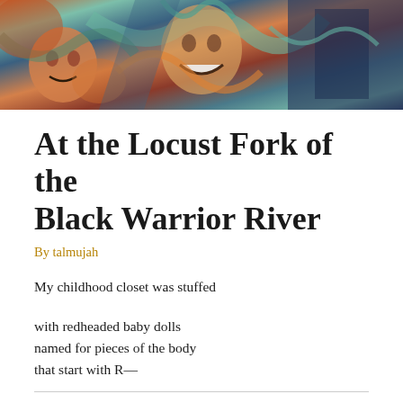[Figure (illustration): Colorful expressionist painting with distorted faces and figures in warm reds, oranges, greens, and blues]
At the Locust Fork of the Black Warrior River
By talmujah
My childhood closet was stuffed
with redheaded baby dolls
named for pieces of the body
that start with R—